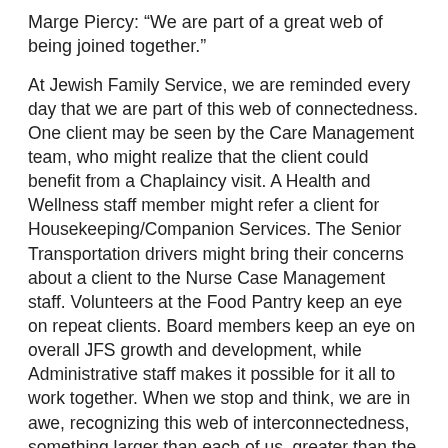Marge Piercy: “We are part of a great web of being joined together.”
At Jewish Family Service, we are reminded every day that we are part of this web of connectedness. One client may be seen by the Care Management team, who might realize that the client could benefit from a Chaplaincy visit. A Health and Wellness staff member might refer a client for Housekeeping/Companion Services. The Senior Transportation drivers might bring their concerns about a client to the Nurse Case Management staff. Volunteers at the Food Pantry keep an eye on repeat clients. Board members keep an eye on overall JFS growth and development, while Administrative staff makes it possible for it all to work together. When we stop and think, we are in awe, recognizing this web of interconnectedness, something larger than each of us, greater than the sum of its parts.
Share